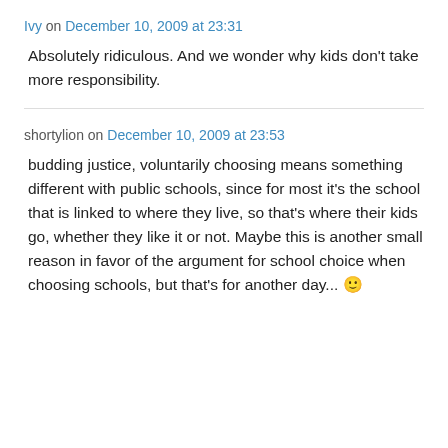Ivy on December 10, 2009 at 23:31
Absolutely ridiculous. And we wonder why kids don't take more responsibility.
shortylion on December 10, 2009 at 23:53
budding justice, voluntarily choosing means something different with public schools, since for most it's the school that is linked to where they live, so that's where their kids go, whether they like it or not. Maybe this is another small reason in favor of the argument for school choice when choosing schools, but that's for another day... 🙂